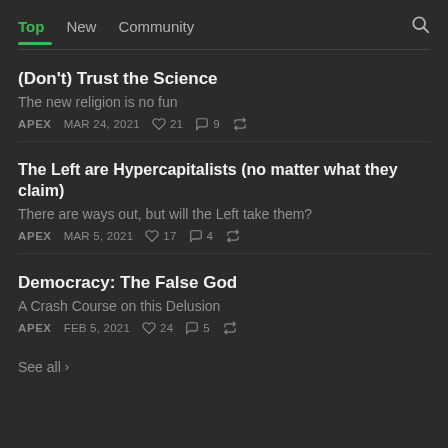Top  New  Community
(Don't) Trust the Science
The new religion is no fun
APEX  MAR 24, 2021  ♡ 21  ○ 9  share
The Left are Hypercapitalists (no matter what they claim)
There are ways out, but will the Left take them?
APEX  MAR 5, 2021  ♡ 17  ○ 4  share
Democracy: The False God
A Crash Course on this Delusion
APEX  FEB 5, 2021  ♡ 24  ○ 5  share
See all